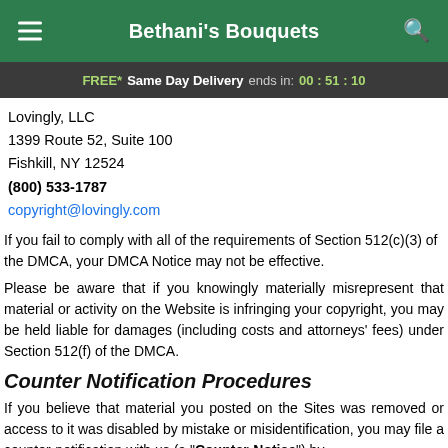Bethani's Bouquets
FREE* Same Day Delivery ends in: 00:51:10
Lovingly, LLC
1399 Route 52, Suite 100
Fishkill, NY 12524
(800) 533-1787
copyright@lovingly.com
If you fail to comply with all of the requirements of Section 512(c)(3) of the DMCA, your DMCA Notice may not be effective.
Please be aware that if you knowingly materially misrepresent that material or activity on the Website is infringing your copyright, you may be held liable for damages (including costs and attorneys' fees) under Section 512(f) of the DMCA.
Counter Notification Procedures
If you believe that material you posted on the Sites was removed or access to it was disabled by mistake or misidentification, you may file a counter-notification with us (a "Counter-Notice") by